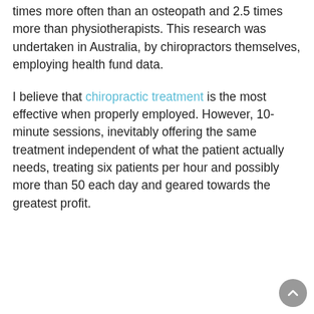times more often than an osteopath and 2.5 times more than physiotherapists. This research was undertaken in Australia, by chiropractors themselves, employing health fund data.
I believe that chiropractic treatment is the most effective when properly employed. However, 10-minute sessions, inevitably offering the same treatment independent of what the patient actually needs, treating six patients per hour and possibly more than 50 each day and geared towards the greatest profit.